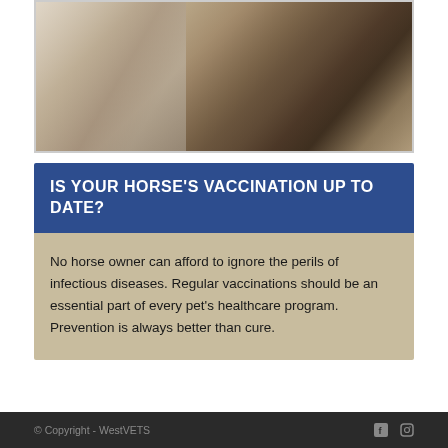[Figure (photo): Photo of a Siamese kitten and a German Shepherd puppy lying together on a white surface, looking at the camera.]
IS YOUR HORSE'S VACCINATION UP TO DATE?
No horse owner can afford to ignore the perils of infectious diseases. Regular vaccinations should be an essential part of every pet's healthcare program. Prevention is always better than cure.
© Copyright - WestVETS